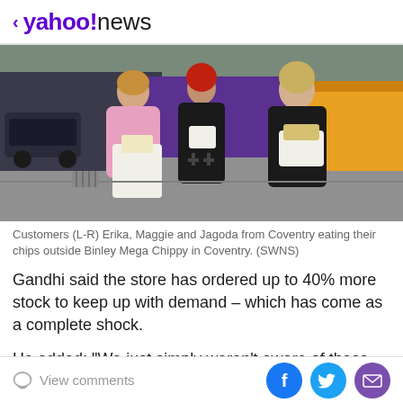< yahoo!news
[Figure (photo): Three young women eating chips outside Binley Mega Chippy in Coventry. Left to right: Erika in pink sweatshirt, Maggie in black with red hair, Jagoda in black jacket.]
Customers (L-R) Erika, Maggie and Jagoda from Coventry eating their chips outside Binley Mega Chippy in Coventry. (SWNS)
Gandhi said the store has ordered up to 40% more stock to keep up with demand – which has come as a complete shock.
He added: "We just simply weren't aware of these videos, we're not on TikTok or Twitter and don't
View comments